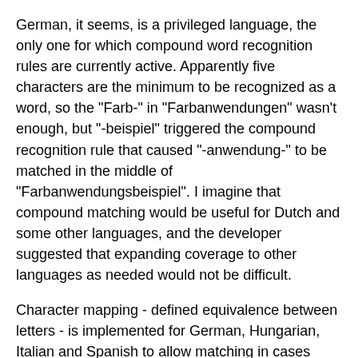German, it seems, is a privileged language, the only one for which compound word recognition rules are currently active. Apparently five characters are the minimum to be recognized as a word, so the "Farb-" in "Farbanwendungen" wasn't enough, but "-beispiel" triggered the compound recognition rule that caused "-anwendung-" to be matched in the middle of "Farbanwendungsbeispiel". I imagine that compound matching would be useful for Dutch and some other languages, and the developer suggested that expanding coverage to other languages as needed would not be difficult.
Character mapping - defined equivalence between letters - is implemented for German, Hungarian, Italian and Spanish to allow matching in cases where letters may change with plural formation, for example. Thus the German word "Bratapfel" in the termbase would yield a hit for the plural form "Bratäpfel".
Edit distance is calculated by dividing the number of deviating characters by the number of total characters in the fuzzy term entry. A match is currently assumed if the edit